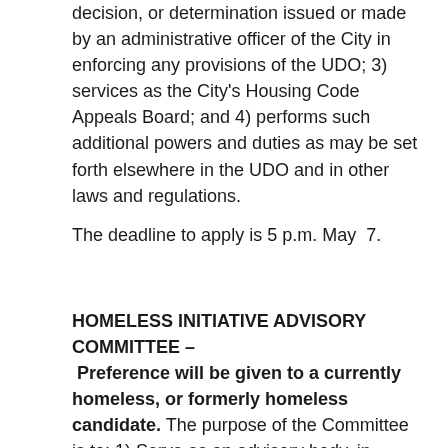decision, or determination issued or made by an administrative officer of the City in enforcing any provisions of the UDO; 3) services as the City's Housing Code Appeals Board; and 4) performs such additional powers and duties as may be set forth elsewhere in the UDO and in other laws and regulations.
The deadline to apply is 5 p.m. May 7.
HOMELESS INITIATIVE ADVISORY COMMITTEE – Preference will be given to a currently homeless, or formerly homeless candidate. The purpose of the Committee is to: 1) Serve as an advisory body, in collaboration with the Asheville-Buncombe Homeless Coalition, to the Asheville City Council or its designated subcommittee for the NC 501 Continuum of Care; 2) Address homelessness through a